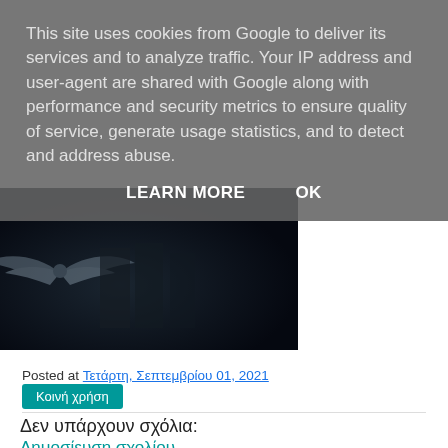This site uses cookies from Google to deliver its services and to analyze traffic. Your IP address and user-agent are shared with Google along with performance and security metrics to ensure quality of service, generate usage statistics, and to detect and address abuse.
LEARN MORE   OK
[Figure (photo): Dark image with wing/military insignia symbol, very low lighting]
Posted at Τετάρτη, Σεπτεμβρίου 01, 2021
Κοινή χρήση
Δεν υπάρχουν σχόλια:
Δημοσίευση σχολίου